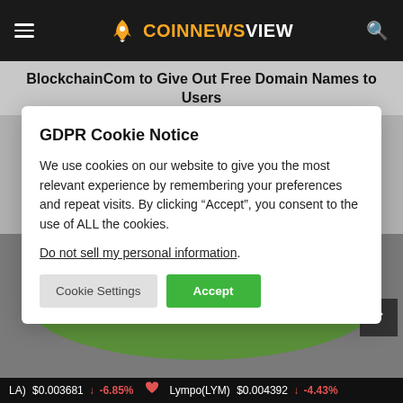COINNEWSVIEW
BlockchainCom to Give Out Free Domain Names to Users
GDPR Cookie Notice

We use cookies on our website to give you the most relevant experience by remembering your preferences and repeat visits. By clicking “Accept”, you consent to the use of ALL the cookies.

Do not sell my personal information.

[Cookie Settings] [Accept]
[Figure (screenshot): 3D rendering of a building/house with palm trees, viewed from above at an angle, on a green lawn. Dark background. Part of a news article illustration.]
LA) $0.003681 ↓ -6.85%  Lympo(LYM) $0.004392 ↓ -4.43%